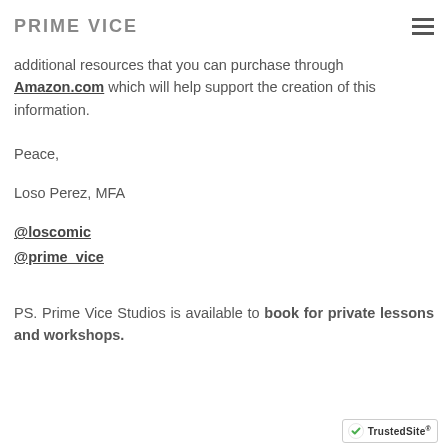PRIME VICE
additional resources that you can purchase through Amazon.com which will help support the creation of this information.
Peace,
Loso Perez, MFA
@loscomic
@prime_vice
PS. Prime Vice Studios is available to book for private lessons and workshops.